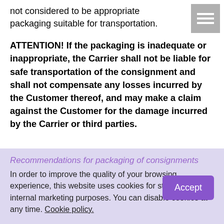not considered to be appropriate packaging suitable for transportation.
ATTENTION! If the packaging is inadequate or inappropriate, the Carrier shall not be liable for safe transportation of the consignment and shall not compensate any losses incurred by the Customer thereof, and may make a claim against the Customer for the damage incurred by the Carrier or third parties.
Recommendations for packaging of consignments
In order to improve the quality of your browsing experience, this website uses cookies for statistical and internal marketing purposes. You can disable cookies at any time. Cookie policy.